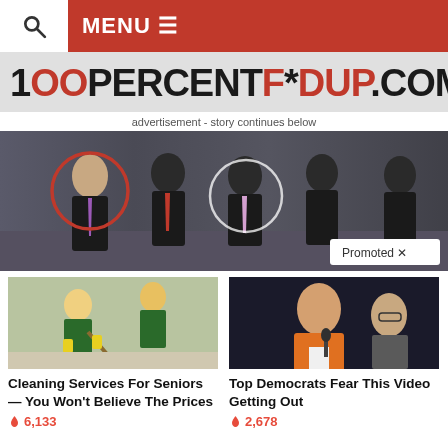MENU
[Figure (logo): 100PERCENTFE*DUP.COM website logo in black and red distressed font]
advertisement - story continues below
[Figure (photo): Group of men in dark suits, one circled in red on the left, one circled in white in the center. Promoted badge with X in bottom right.]
[Figure (photo): Woman mopping floor - cleaning services advertisement image]
Cleaning Services For Seniors — You Won't Believe The Prices
6,133
[Figure (photo): Woman in orange jacket speaking - Top Democrats advertisement image]
Top Democrats Fear This Video Getting Out
2,678